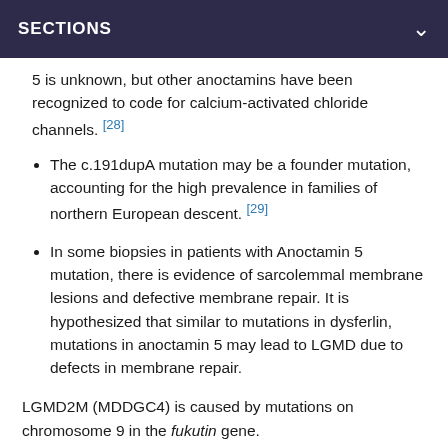SECTIONS
5 is unknown, but other anoctamins have been recognized to code for calcium-activated chloride channels. [28]
The c.191dupA mutation may be a founder mutation, accounting for the high prevalence in families of northern European descent. [29]
In some biopsies in patients with Anoctamin 5 mutation, there is evidence of sarcolemmal membrane lesions and defective membrane repair. It is hypothesized that similar to mutations in dysferlin, mutations in anoctamin 5 may lead to LGMD due to defects in membrane repair.
LGMD2M (MDDGC4) is caused by mutations on chromosome 9 in the fukutin gene.
LGMD2M is allelic with Fukuyama congenital